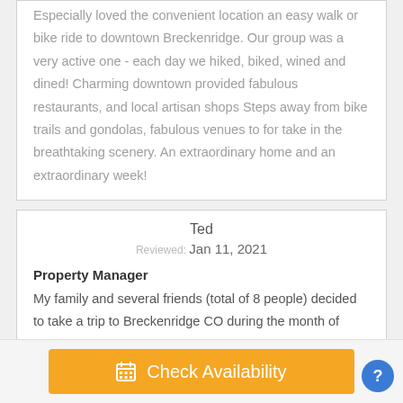Especially loved the convenient location an easy walk or bike ride to downtown Breckenridge. Our group was a very active one - each day we hiked, biked, wined and dined! Charming downtown provided fabulous restaurants, and local artisan shops Steps away from bike trails and gondolas, fabulous venues to for take in the breathtaking scenery. An extraordinary home and an extraordinary week!
Ted
Reviewed: Jan 11, 2021
Property Manager
My family and several friends (total of 8 people) decided to take a trip to Breckenridge CO during the month of September.